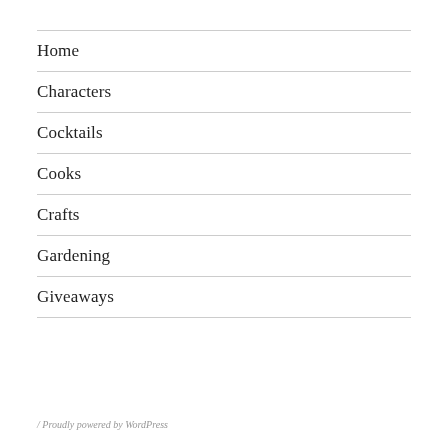Home
Characters
Cocktails
Cooks
Crafts
Gardening
Giveaways
/ Proudly powered by WordPress